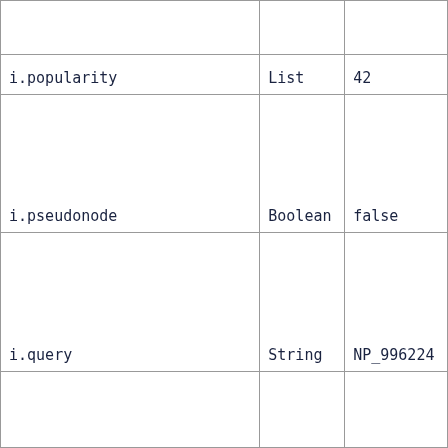|  |  |  |
| i.popularity | List | 42 |
| i.pseudonode | Boolean | false |
| i.query | String | NP_996224 |
|  |  |  |